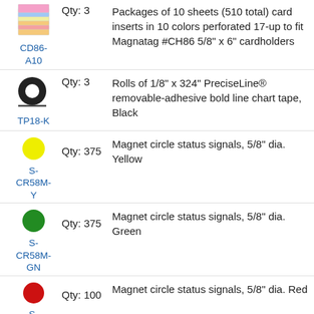CD86-A10 | Qty: 3 | Packages of 10 sheets (510 total) card inserts in 10 colors perforated 17-up to fit Magnatag #CH86 5/8" x 6" cardholders
TP18-K | Qty: 3 | Rolls of 1/8" x 324" PreciseLine® removable-adhesive bold line chart tape, Black
S-CR58M-Y | Qty: 375 | Magnet circle status signals, 5/8" dia. Yellow
S-CR58M-GN | Qty: 375 | Magnet circle status signals, 5/8" dia. Green
S-CR58M-R | Qty: 100 | Magnet circle status signals, 5/8" dia. Red